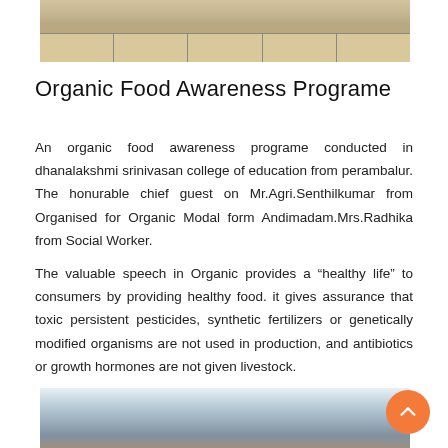[Figure (photo): Top portion of a photo showing a table with food items displayed, partially cropped at the top of the page.]
Organic Food Awareness Programe
An organic food awareness programe conducted in dhanalakshmi srinivasan college of education from perambalur. The honurable chief guest on Mr.Agri.Senthilkumar from Organised for Organic Modal form Andimadam.Mrs.Radhika from Social Worker.
The valuable speech in Organic provides a “healthy life” to consumers by providing healthy food. it gives assurance that toxic persistent pesticides, synthetic fertilizers or genetically modified organisms are not used in production, and antibiotics or growth hormones are not given livestock.
[Figure (photo): A large group of students and attendees seated in a hall during the organic food awareness programme event, partially shown at the bottom of the page.]